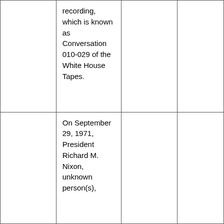|  | recording, which is known as Conversation 010-029 of the White House Tapes. |  |  |
|  | On September 29, 1971, President Richard M. Nixon, unknown person(s), |  |  |